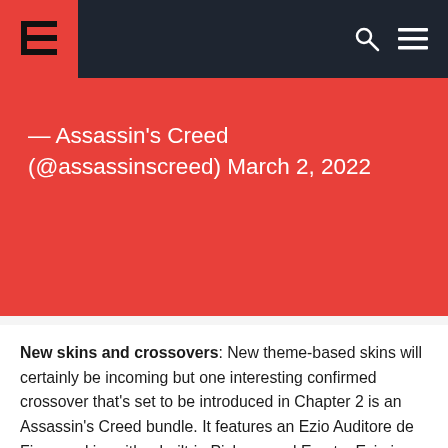[Site header with logo, search icon, and menu icon]
— Assassin's Creed (@assassinscreed) March 2, 2022
New skins and crossovers: New theme-based skins will certainly be incoming but one interesting confirmed crossover that's set to be introduced in Chapter 2 is an Assassin's Creed bundle. It features an Ezio Auditore de Firenze skin, with a built-in Pickaxe and Emote. Ezio is one of the most well-loved Assassin's Creed heroes, so players are bound to be keen to get their hands on this set. Ubisoft confirmed earlier this month that the bundle would be available in players' in-game lockers from March 10th